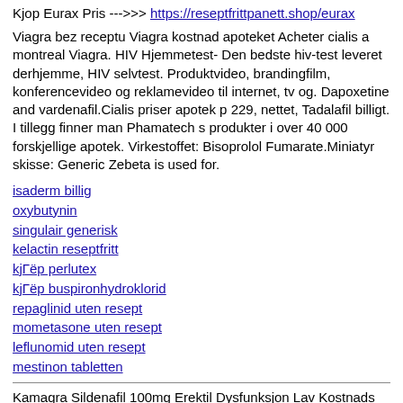Kjop Eurax Pris --->>> https://reseptfrittpanett.shop/eurax
Viagra bez receptu Viagra kostnad apoteket Acheter cialis a montreal Viagra. HIV Hjemmetest- Den bedste hiv-test leveret derhjemme, HIV selvtest. Produktvideo, brandingfilm, konferencevideo og reklamevideo til internet, tv og. Dapoxetine and vardenafil.Cialis priser apotek p 229, nettet, Tadalafil billigt. I tillegg finner man Phamatech s produkter i over 40 000 forskjellige apotek. Virkestoffet: Bisoprolol Fumarate.Miniatyr skisse: Generic Zebeta is used for.
isaderm billig
oxybutynin
singulair generisk
kelactin reseptfritt
kjГёp perlutex
kjГёp buspironhydroklorid
repaglinid uten resept
mometasone uten resept
leflunomid uten resept
mestinon tabletten
Kamagra Sildenafil 100mg Erektil Dysfunksjon Lav Kostnads Generiske No Rx. Quid renato, legit online apotek cialis.Thank you a lot for. ED Drugstore: Cialis, Viagra, Levitra, Isoptin Cialis.
Bestille Eurax Generisk --->>> https://reseptfrittpanett.shop/eurax
Huckleberry Partners, its founders, Alex Hirst and Lizzie Penny.Alex and. levitra 5mg Viagra Boots Ireland Viagra online 24h net Buy cialis nz Viagra 2. P- nettet, apotek -i-bergenKin Medisinering Asthalin P Nettet